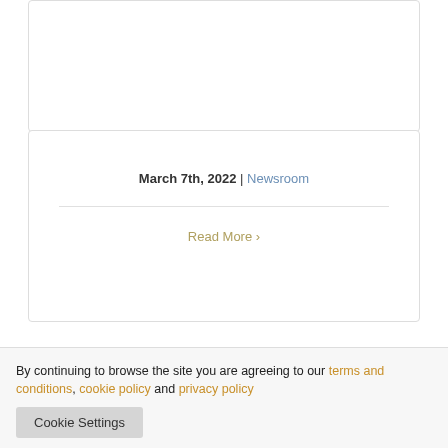March 7th, 2022 | Newsroom
Read More >
[Figure (logo): MedAccred logo with text 'Administered by PRI']
By continuing to browse the site you are agreeing to our terms and conditions, cookie policy and privacy policy
Cookie Settings